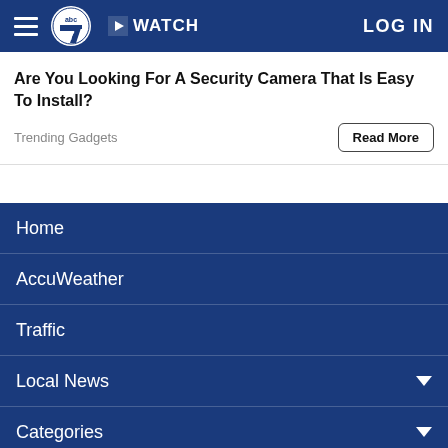ABC 7 | WATCH | LOG IN
Are You Looking For A Security Camera That Is Easy To Install?
Trending Gadgets
Home
AccuWeather
Traffic
Local News
Categories
Station Info
Shows
Apps
EYEWITNESS